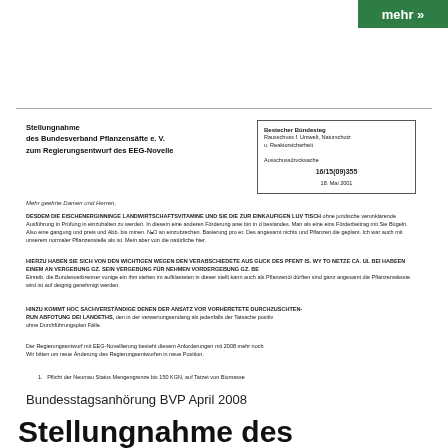mehr »
[Figure (illustration): Scanned document page showing a letter titled 'Stellungnahme des Bundesverband Pflanzensäfte e. V. zum Regierungsentwurf des EEG-Novelle' with a letterhead box in the top right corner and body text paragraphs]
Bundestagsanhörung BVP April 2008
Stellungnahme des